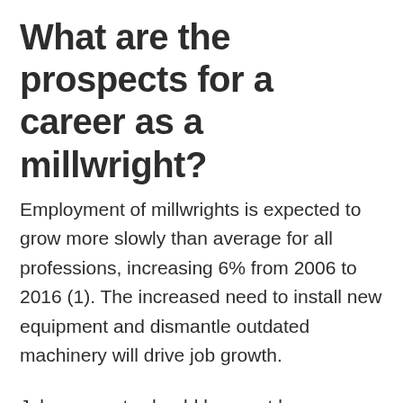What are the prospects for a career as a millwright?
Employment of millwrights is expected to grow more slowly than average for all professions, increasing 6% from 2006 to 2016 (1). The increased need to install new equipment and dismantle outdated machinery will drive job growth.
Job prospects should be great because many experienced millwrights are expected to retire or